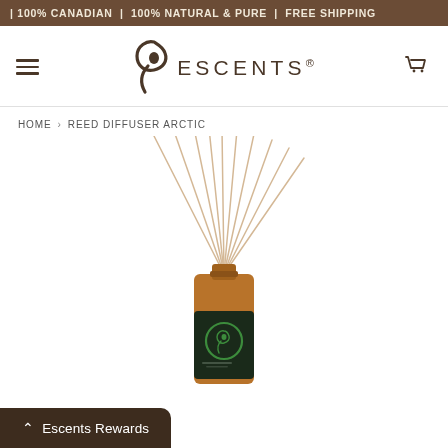| 100% CANADIAN | 100% NATURAL & PURE | FREE SHIPPING
[Figure (logo): Escents logo with stylized leaf/swirl icon and text 'ESCENTS®' in brown serif/sans letters]
HOME › REED DIFFUSER ARCTIC
[Figure (photo): Reed diffuser product photo: amber glass bottle with dark label featuring Escents green logo, with multiple thin reed sticks fanning upward out of the bottle top, on white background]
Escents Rewards